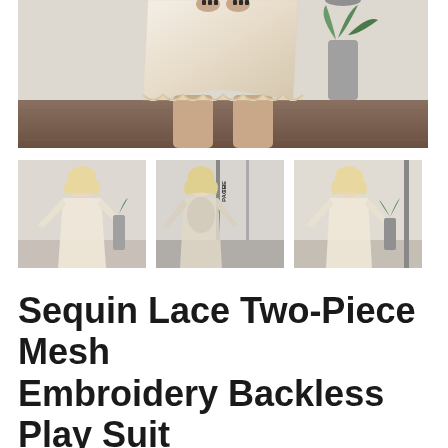[Figure (photo): Main product photo showing a model wearing a sequin lace two-piece mesh embroidery backless play suit, cropped to show torso and shorts with scalloped hem, standing on a wooden floor with a plant in the background]
[Figure (photo): Thumbnail 1: Model wearing the sequin lace play suit from the front, showing long lace sleeves and short hemline, standing against a white wall]
[Figure (photo): Thumbnail 2: Model wearing the sequin lace play suit from the back, showing backless design with sheer lace back detail, text 'THE PAGE' visible on wall in background]
[Figure (photo): Thumbnail 3: Model wearing the sequin lace play suit from the front-side angle, showing lace long sleeves and short hemline, plant in background]
Sequin Lace Two-Piece Mesh Embroidery Backless Play Suit